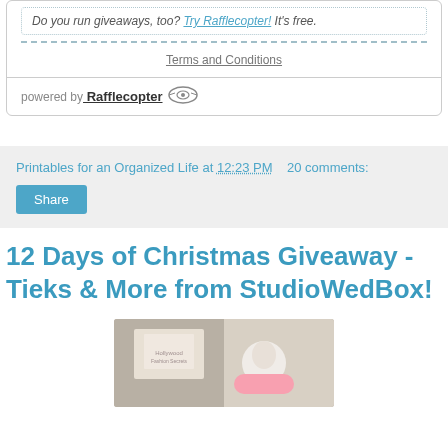Do you run giveaways, too? Try Rafflecopter It's free.
Terms and Conditions
powered by Rafflecopter
Printables for an Organized Life at 12:23 PM   20 comments:
Share
12 Days of Christmas Giveaway - Tieks & More from StudioWedBox!
[Figure (photo): Package/box photo showing Hollywood Fashion Secrets product with a woman smiling, pink and cream colored items visible]